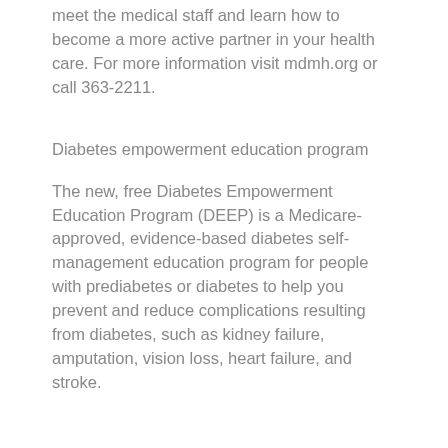meet the medical staff and learn how to become a more active partner in your health care. For more information visit mdmh.org or call 363-2211.
Diabetes empowerment education program
The new, free Diabetes Empowerment Education Program (DEEP) is a Medicare-approved, evidence-based diabetes self-management education program for people with prediabetes or diabetes to help you prevent and reduce complications resulting from diabetes, such as kidney failure, amputation, vision loss, heart failure, and stroke.